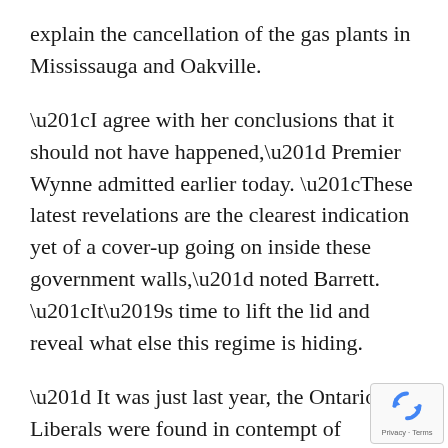explain the cancellation of the gas plants in Mississauga and Oakville.
“I agree with her conclusions that it should not have happened,” Premier Wynne admitted earlier today. “These latest revelations are the clearest indication yet of a cover-up going on inside these government walls,” noted Barrett. “It’s time to lift the lid and reveal what else this regime is hiding.
” It was just last year, the Ontario Liberals were found in contempt of parliament when government refused to produce all documents relating to the gas plant scandal.”
[Figure (logo): reCAPTCHA badge with rotating arrows logo and Privacy - Terms links]